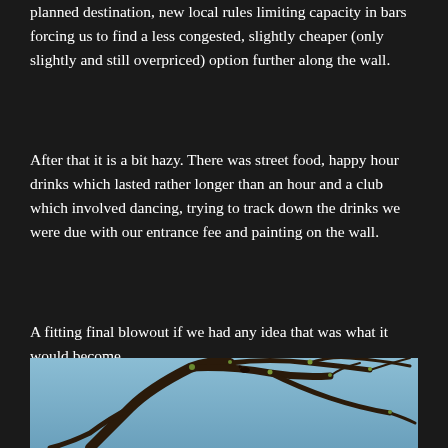planned destination, new local rules limiting capacity in bars forcing us to find a less congested, slightly cheaper (only slightly and still overpriced) option further along the wall.
After that it is a bit hazy. There was street food, happy hour drinks which lasted rather longer than an hour and a club which involved dancing, trying to track down the drinks we were due with our entrance fee and painting on the wall.
A fitting final blowout if we had any idea that was what it would become.
[Figure (photo): Close-up photograph of bare tree branches with small green buds/leaves against a light blue sky background. The branches are dark brown/black, gnarled and spreading across the frame.]